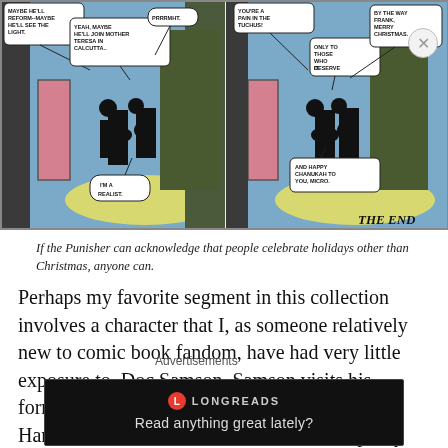[Figure (illustration): Two comic book panels showing two figures walking down a corridor. Left panel: speech bubbles read 'MAYBE HE'LL REFORM--MAYBE HE'LL SEE THE LIGHT.', 'YEAH, MAYBE HE'LL JOIN MOTHER TERESA IN CALCUTTA..', 'PRRRMHT.', 'I'M A REALIST.' Right panel: speech bubbles read 'YOU'RE A PAIN IN THE TUCHUS!', 'ONLY TO THOSE WHO DESERVE IT.', 'BY THE WAY FRANK, MERRY CHRISTMAS.', 'AND HAPPY CHANUKAH TO YOU, MICRO.', 'THE END']
If the Punisher can acknowledge that people celebrate holidays other than Christmas, anyone can.
Perhaps my favorite segment in this collection involves a character that I, as someone relatively new to comic book fandom, have had very little exposure to, Doc Samson.  Samson visits his former yeshiva to tell the kids the story of Hanukkah, but because small children are pretty much assholes, he is
Advertisements
[Figure (screenshot): Longreads advertisement banner on dark background reading 'Read anything great lately?']